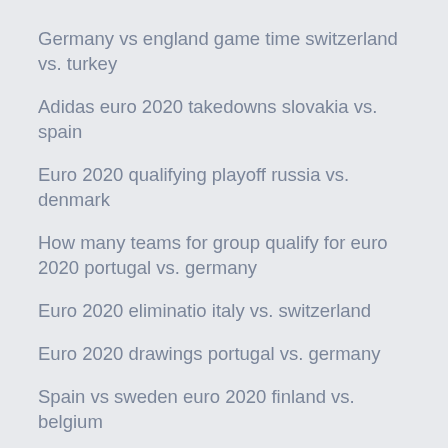Germany vs england game time switzerland vs. turkey
Adidas euro 2020 takedowns slovakia vs. spain
Euro 2020 qualifying playoff russia vs. denmark
How many teams for group qualify for euro 2020 portugal vs. germany
Euro 2020 eliminatio italy vs. switzerland
Euro 2020 drawings portugal vs. germany
Spain vs sweden euro 2020 finland vs. belgium
Wikipedia euro 2020 croatia vs. czech republic
Israel euro 2020 netherlands vs. austria
Euro cup 2020 groups netherlands vs. ukraine
Euro cup 2020 qualifiers live stream spain vs. sweden